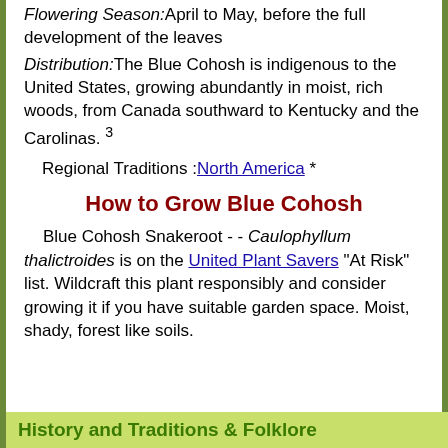Flowering Season: April to May, before the full development of the leaves
Distribution: The Blue Cohosh is indigenous to the United States, growing abundantly in moist, rich woods, from Canada southward to Kentucky and the Carolinas. 3
Regional Traditions : North America *
How to Grow Blue Cohosh
Blue Cohosh Snakeroot - - Caulophyllum thalictroides is on the United Plant Savers "At Risk" list. Wildcraft this plant responsibly and consider growing it if you have suitable garden space. Moist, shady, forest like soils.
History and Traditions & Folklore